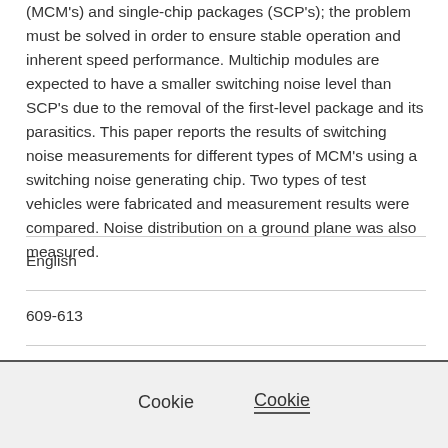(MCM's) and single-chip packages (SCP's); the problem must be solved in order to ensure stable operation and inherent speed performance. Multichip modules are expected to have a smaller switching noise level than SCP's due to the removal of the first-level package and its parasitics. This paper reports the results of switching noise measurements for different types of MCM's using a switching noise generating chip. Two types of test vehicles were fabricated and measurement results were compared. Noise distribution on a ground plane was also measured.
English
609-613
Cookie
Cookie